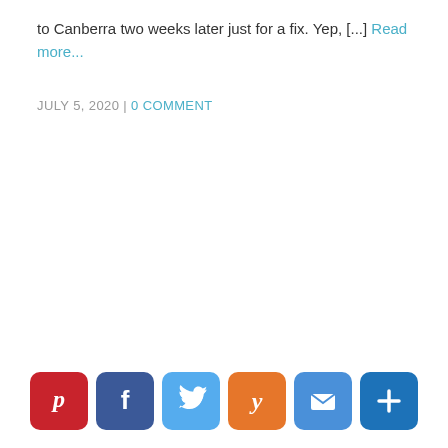to Canberra two weeks later just for a fix. Yep, [...] Read more...
JULY 5, 2020 | 0 COMMENT
[Figure (infographic): Social sharing buttons row: Pinterest (red), Facebook (blue), Twitter (light blue), Yummly (orange), Email (blue), More/Plus (dark blue)]